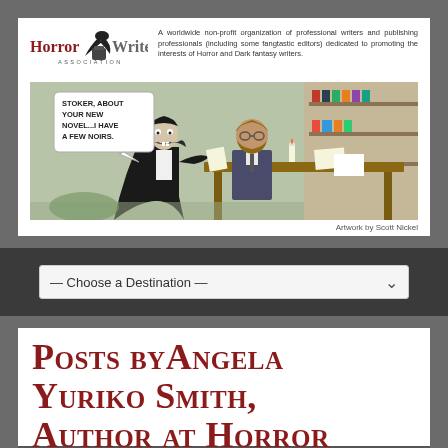[Figure (illustration): Horror Writers Association logo with raven/quill icon, organization name, and description text: 'A worldwide non-profit organization of professional writers and publishing professionals (including some fangtastic editors) dedicated to promoting the interests of Horror and Dark Fantasy writers.' Below is a cartoon showing Dracula sitting across from a bearded man (Bram Stoker) at a desk with candle and papers. Speech bubble says 'STOKER, ABOUT YOUR NEW NOVEL...I HAVE A FEW NOIRS.' Credit: Artwork by Scott Nickel.]
[Figure (screenshot): Dropdown navigation menu with text '— Choose a Destination —' and a chevron arrow on the right.]
Posts by Angela Yuriko Smith, Author at Horror Writers Association [ 146 ]